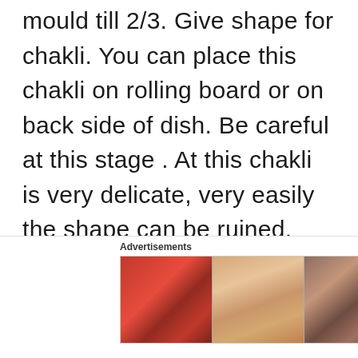mould till 2/3. Give shape for chakli. You can place this chakli on rolling board or on back side of dish. Be careful at this stage . At this chakli is very delicate, very easily the shape can be ruined, after giving shape dont touch it much, as the sharpness of edges
Advertisements
[Figure (other): Ulta Beauty advertisement banner with cosmetic product images and 'SHOP NOW' call to action]